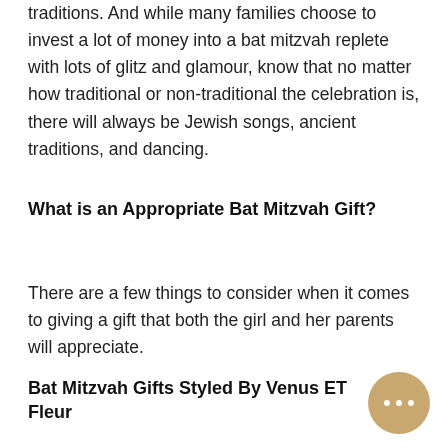traditions. And while many families choose to invest a lot of money into a bat mitzvah replete with lots of glitz and glamour, know that no matter how traditional or non-traditional the celebration is, there will always be Jewish songs, ancient traditions, and dancing.
What is an Appropriate Bat Mitzvah Gift?
There are a few things to consider when it comes to giving a gift that both the girl and her parents will appreciate.
Bat Mitzvah Gifts Styled By Venus ET Fleur